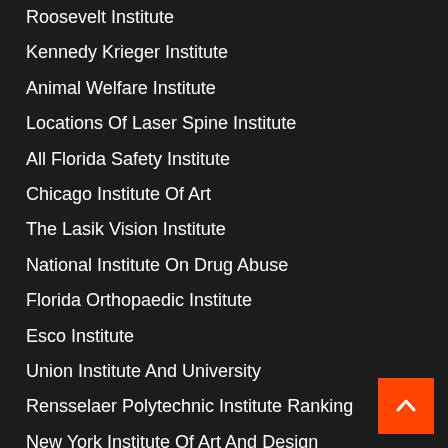Roosevelt Institute
Kennedy Krieger Institute
Animal Welfare Institute
Locations Of Laser Spine Institute
All Florida Safety Institute
Chicago Institute Of Art
The Lasik Vision Institute
National Institute On Drug Abuse
Florida Orthopaedic Institute
Esco Institute
Union Institute And University
Rensselaer Polytechnic Institute Ranking
New York Institute Of Art And Design
Temple Institute
Andrews Institute
National Democratic Institute
Ridgeview Institute
Tucson Orthopedic Institute